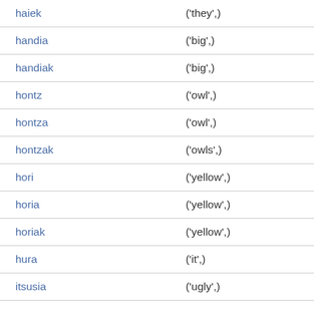| haiek | ('they',) |
| handia | ('big',) |
| handiak | ('big',) |
| hontz | ('owl',) |
| hontza | ('owl',) |
| hontzak | ('owls',) |
| hori | ('yellow',) |
| horia | ('yellow',) |
| horiak | ('yellow',) |
| hura | ('it',) |
| itsusia | ('ugly',) |